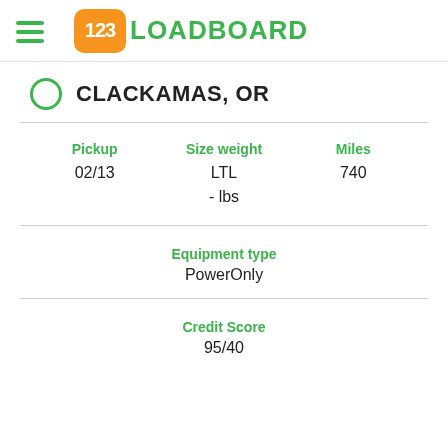123LOADBOARD
CLACKAMAS, OR
| Pickup | Size weight | Miles |
| --- | --- | --- |
| 02/13 | LTL
- lbs | 740 |
Equipment type
PowerOnly
Credit Score
95/40